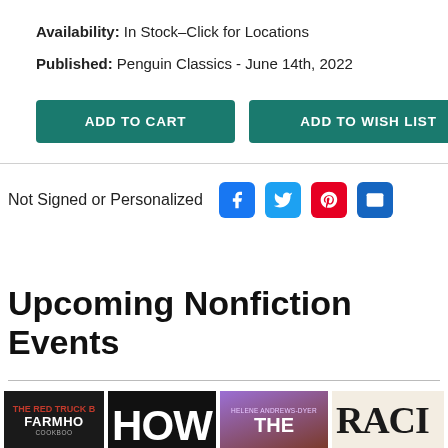Availability: In Stock–Click for Locations
Published: Penguin Classics - June 14th, 2022
[Figure (screenshot): Two teal buttons: ADD TO CART and ADD TO WISH LIST]
Not Signed or Personalized
[Figure (infographic): Social sharing icons: Facebook, Twitter, Pinterest, Email]
Upcoming Nonfiction Events
[Figure (photo): Four book cover thumbnails: The Red Truck Farmhouse Cookbook, HOW, The (Helene Andrews-Dyer), RACI]